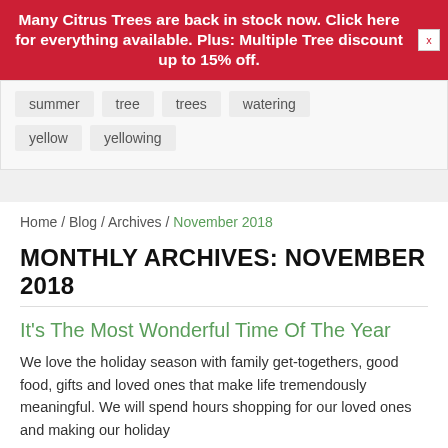Many Citrus Trees are back in stock now. Click here for everything available. Plus: Multiple Tree discount up to 15% off.
summer
tree
trees
watering
yellow
yellowing
Home / Blog / Archives / November 2018
MONTHLY ARCHIVES: NOVEMBER 2018
It's The Most Wonderful Time Of The Year
We love the holiday season with family get-togethers, good food, gifts and loved ones that make life tremendously meaningful. We will spend hours shopping for our loved ones and making our holiday